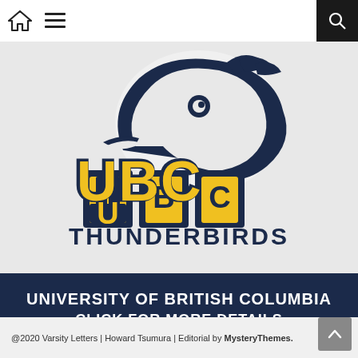Navigation bar with home icon, hamburger menu, and search icon
[Figure (logo): UBC Thunderbirds logo — a thunderbird mascot head in navy blue and white above the letters 'UBC' in gold and navy, with 'THUNDERBIRDS' text below in navy on a light grey background]
UNIVERSITY OF BRITISH COLUMBIA
CLICK FOR MORE DETAILS
@2020 Varsity Letters | Howard Tsumura | Editorial by MysteryThemes.